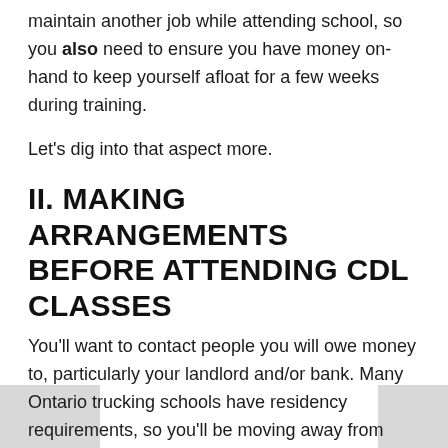maintain another job while attending school, so you also need to ensure you have money on-hand to keep yourself afloat for a few weeks during training.
Let's dig into that aspect more.
II. MAKING ARRANGEMENTS BEFORE ATTENDING CDL CLASSES
You'll want to contact people you will owe money to, particularly your landlord and/or bank. Many Ontario trucking schools have residency requirements, so you'll be moving away from home for a month or so, depending on the exact length of the program. Either way, you'll want to let people know you'll be away, and make proper payment